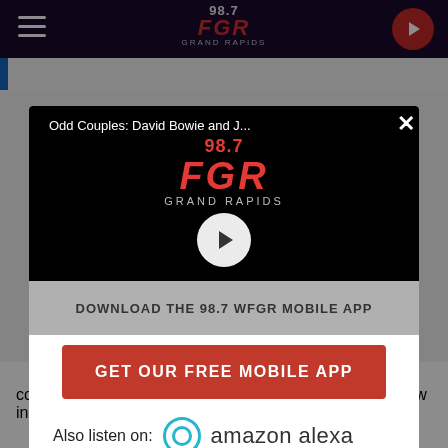[Figure (screenshot): Top navigation bar of 98.7 FGR Grand Rapids radio website with hamburger menu, logo, and play button]
[Figure (screenshot): Modal popup overlay with video player showing 98.7 FGR logo and title 'Odd Couples: David Bowie and J...' with play button, download app section, GET OUR FREE MOBILE APP button, and Also listen on: Amazon Alexa section]
concealed blade that comes out of the muzzle. Lee is now in police custody.